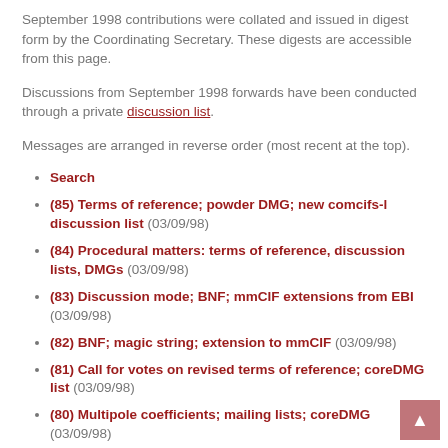September 1998 contributions were collated and issued in digest form by the Coordinating Secretary. These digests are accessible from this page.
Discussions from September 1998 forwards have been conducted through a private discussion list.
Messages are arranged in reverse order (most recent at the top).
Search
(85) Terms of reference; powder DMG; new comcifs-l discussion list (03/09/98)
(84) Procedural matters: terms of reference, discussion lists, DMGs (03/09/98)
(83) Discussion mode; BNF; mmCIF extensions from EBI (03/09/98)
(82) BNF; magic string; extension to mmCIF (03/09/98)
(81) Call for votes on revised terms of reference; coreDMG list (03/09/98)
(80) Multipole coefficients; mailing lists; coreDMG (03/09/98)